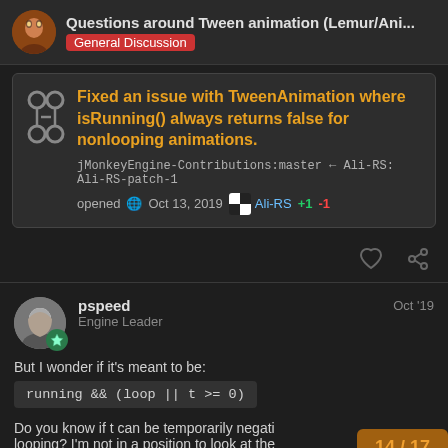Questions around Tween animation (Lemur/Ani... | General Discussion
Fixed an issue with TweenAnimation where isRunning() always returns false for nonlooping animations.
jMonkeyEngine-Contributions:master ← Ali-RS:Ali-RS-patch-1
opened 🌐 Oct 13, 2019  Ali-RS  +1 -1
pspeed  Oct '19
Engine Leader
But I wonder if it's meant to be:
running && (loop || t >= 0)
Do you know if t can be temporarily negati looping? I'm not in a position to look at the
14 / 17